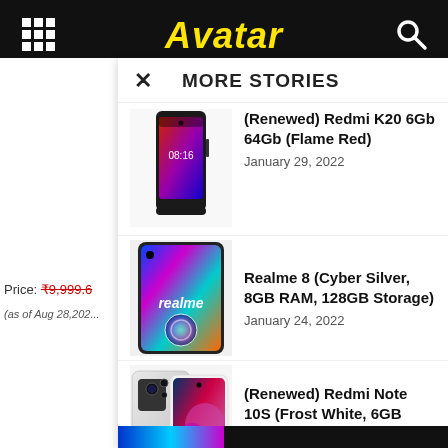Avatar
MORE STORIES
(Renewed) Redmi K20 6Gb 64Gb (Flame Red) — January 29, 2022
Realme 8 (Cyber Silver, 8GB RAM, 128GB Storage) — January 24, 2022
(Renewed) Redmi Note 10S (Frost White, 6GB RAM, 64GB Storage) –... — January 25, 2022
Price: ₹9,999.6
(as of Aug 28,202...